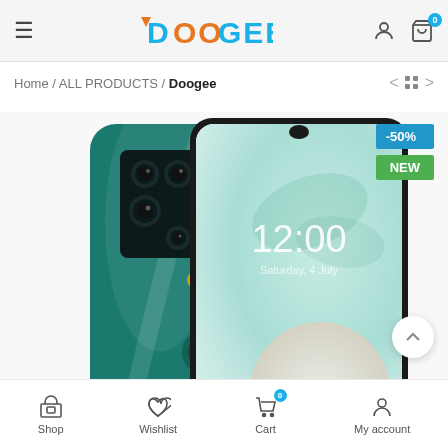DOOGEE
Home / ALL PRODUCTS / Doogee
[Figure (photo): Doogee smartphone shown from front and back in teal/green color, displaying 12:00 on lockscreen, with quad camera array visible on back. Badges: -50% and NEW visible in top right.]
Shop  Wishlist  Cart  My account